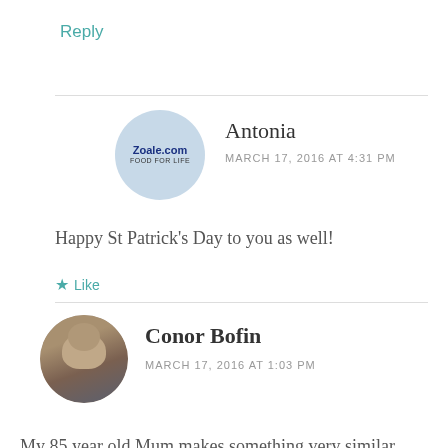Reply
Antonia
MARCH 17, 2016 AT 4:31 PM
Happy St Patrick's Day to you as well!
Like
Conor Bofin
MARCH 17, 2016 AT 1:03 PM
My 85 year old Mum makes something very similar. The principal difference is that she doesn't use any